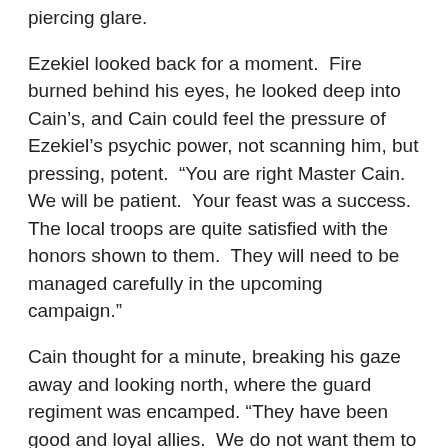piercing glare.
Ezekiel looked back for a moment.  Fire burned behind his eyes, he looked deep into Cain’s, and Cain could feel the pressure of Ezekiel’s psychic power, not scanning him, but pressing, potent.  “You are right Master Cain.  We will be patient.  Your feast was a success.  The local troops are quite satisfied with the honors shown to them.  They will need to be managed carefully in the upcoming campaign.”
Cain thought for a minute, breaking his gaze away and looking north, where the guard regiment was encamped. “They have been good and loyal allies.  We do not want them to find out things they cannot be allowed to know.”
“Not only our allies.  I know we must be careful, knowledge is a blade sharper than any carried by our